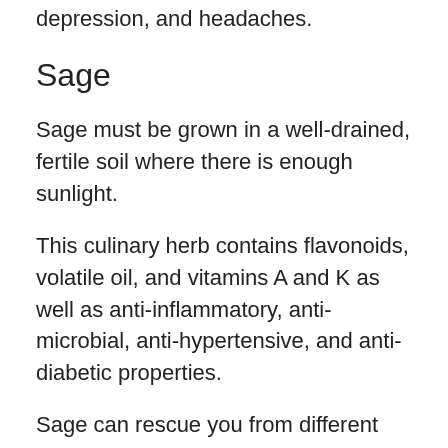depression, and headaches.
Sage
Sage must be grown in a well-drained, fertile soil where there is enough sunlight.
This culinary herb contains flavonoids, volatile oil, and vitamins A and K as well as anti-inflammatory, anti-microbial, anti-hypertensive, and anti-diabetic properties.
Sage can rescue you from different health problems such as excessive sweating, gum disease (gingivitis), stomach pain, gas, painful periods, asthma, loss of appetite, heartburn…